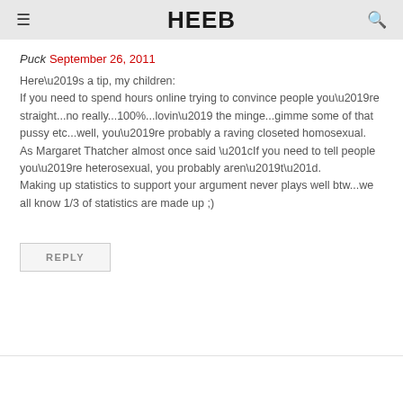Heeb
Puck September 26, 2011
Here’s a tip, my children:
If you need to spend hours online trying to convince people you’re straight...no really...100%...lovin’ the minge...gimme some of that pussy etc...well, you’re probably a raving closeted homosexual.
As Margaret Thatcher almost once said “If you need to tell people you’re heterosexual, you probably aren’t”.
Making up statistics to support your argument never plays well btw...we all know 1/3 of statistics are made up ;)
REPLY